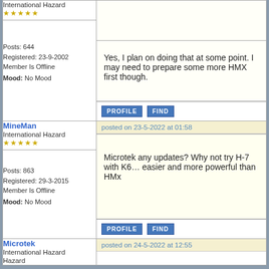International Hazard
★★★★★
Posts: 644
Registered: 23-9-2002
Member Is Offline
Mood: No Mood
Yes, I plan on doing that at some point. I may need to prepare some more HMX first though.
PROFILE  FIND
MineMan
International Hazard
★★★★★
Posts: 863
Registered: 29-3-2015
Member Is Offline
Mood: No Mood
posted on 23-5-2022 at 01:58
Microtek any updates? Why not try H-7 with K6… easier and more powerful than HMx
PROFILE  FIND
Microtek
International Hazard
posted on 24-5-2022 at 12:55